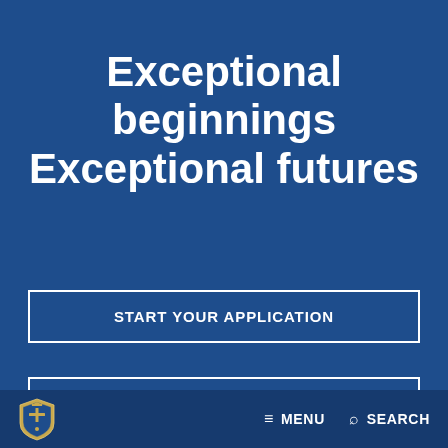Exceptional beginnings Exceptional futures
START YOUR APPLICATION
HAVE QUESTIONS?
Logo | MENU | SEARCH